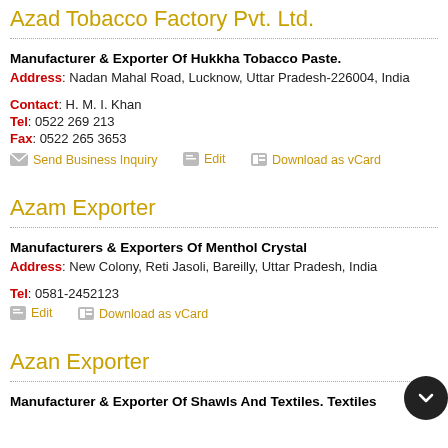Azad Tobacco Factory Pvt. Ltd.
Manufacturer & Exporter Of Hukkha Tobacco Paste.
Address: Nadan Mahal Road, Lucknow, Uttar Pradesh-226004, India
Contact: H. M. I. Khan
Tel: 0522 269 213
Fax: 0522 265 3653
Send Business Inquiry   Edit   Download as vCard
Azam Exporter
Manufacturers & Exporters Of Menthol Crystal
Address: New Colony, Reti Jasoli, Bareilly, Uttar Pradesh, India
Tel: 0581-2452123
Edit   Download as vCard
Azan Exporter
Manufacturer & Exporter Of Shawls And Textiles. Textiles